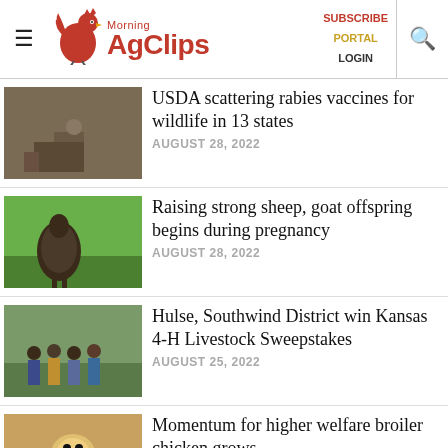Morning AgClips — SUBSCRIBE PORTAL LOGIN
USDA scattering rabies vaccines for wildlife in 13 states
AUGUST 28, 2022
Raising strong sheep, goat offspring begins during pregnancy
AUGUST 28, 2022
Hulse, Southwind District win Kansas 4-H Livestock Sweepstakes
AUGUST 25, 2022
Momentum for higher welfare broiler chicken grows
AUGUST 25, 2022
Maryland Farm Bureau Comments on Poultry Transparency